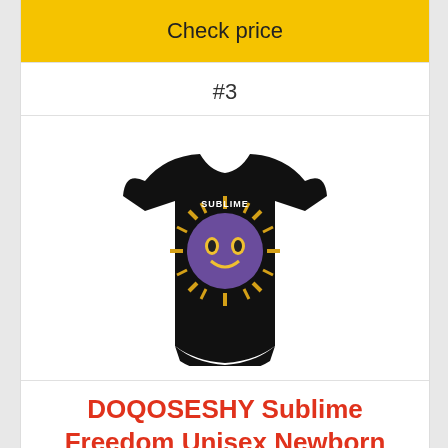Check price
#3
[Figure (photo): Black infant onesie bodysuit with Sublime band logo and sun face graphic on the front]
DOQOSESHY Sublime Freedom Unisex Newborn Bodysuit
Button closure
[Figure (other): Partial red loading spinner circle]